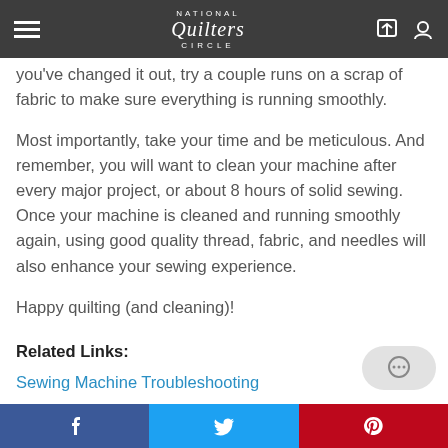National Quilters Circle
you've changed it out, try a couple runs on a scrap of fabric to make sure everything is running smoothly.
Most importantly, take your time and be meticulous. And remember, you will want to clean your machine after every major project, or about 8 hours of solid sewing. Once your machine is cleaned and running smoothly again, using good quality thread, fabric, and needles will also enhance your sewing experience.
Happy quilting (and cleaning)!
Related Links:
Sewing Machine Troubleshooting
f  Twitter  Pinterest